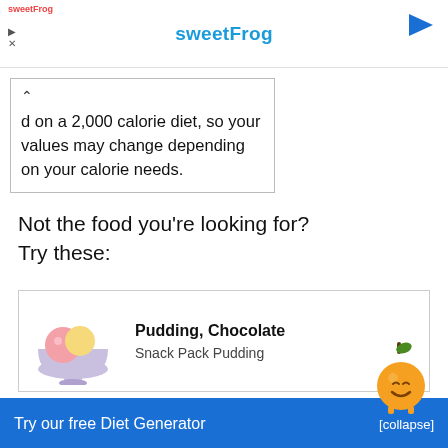sweetFrog
d on a 2,000 calorie diet, so your values may change depending on your calorie needs.
Not the food you're looking for? Try these:
Pudding, Chocolate — Snack Pack Pudding
Try our free Diet Generator [collapse]
I want to eat 1500 calories in 4 meals.
Generate